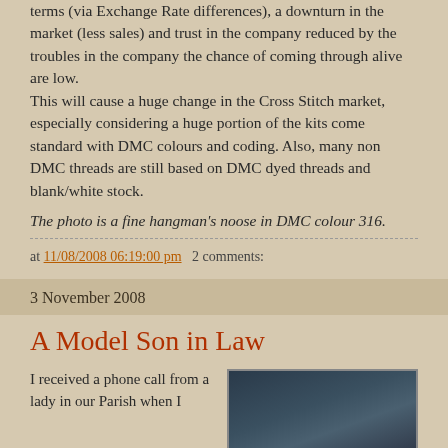terms (via Exchange Rate differences), a downturn in the market (less sales) and trust in the company reduced by the troubles in the company the chance of coming through alive are low.
This will cause a huge change in the Cross Stitch market, especially considering a huge portion of the kits come standard with DMC colours and coding.  Also, many non DMC threads are still based on DMC dyed threads and blank/white stock.
The photo is a fine hangman's noose in DMC colour 316.
at 11/08/2008 06:19:00 pm   2 comments:
3 November 2008
A Model Son in Law
I received a phone call from a lady in our Parish when I
[Figure (photo): Dark outdoor photo, partially visible at the bottom right of the page]